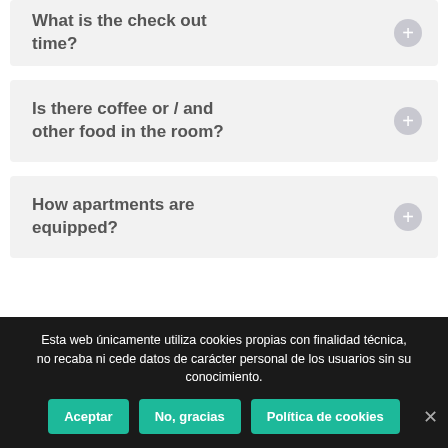What is the check out time?
Is there coffee or / and other food in the room?
How apartments are equipped?
Esta web únicamente utiliza cookies propias con finalidad técnica, no recaba ni cede datos de carácter personal de los usuarios sin su conocimiento.
Aceptar | No, gracias | Política de cookies